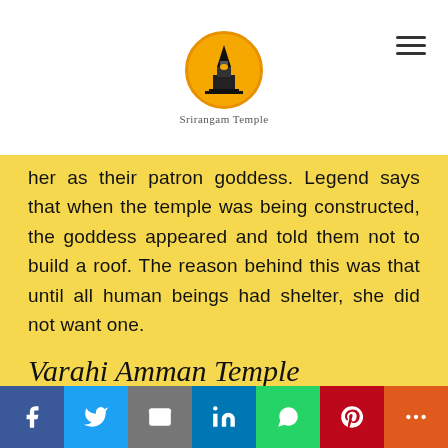Srirangam Temple
her as their patron goddess. Legend says that when the temple was being constructed, the goddess appeared and told them not to build a roof. The reason behind this was that until all human beings had shelter, she did not want one.
Varahi Amman Temple
This temple is dedicated to Saptha Matha Varahi Amman, who is hailed as the fifth one of the Matrikas (group of seven mothers/goddesses). People worship her as they believe she will protect them from harm
Social share buttons: Facebook, Twitter, Email, LinkedIn, WhatsApp, Pinterest, More